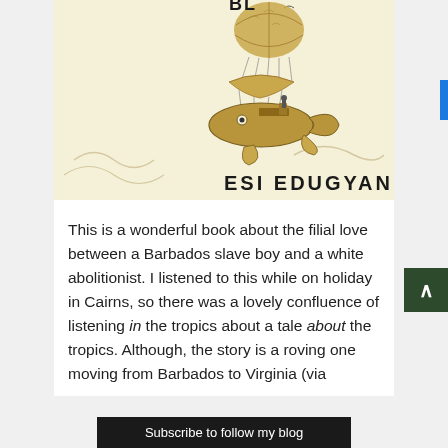[Figure (illustration): Book cover illustration showing a hot air balloon above a flying fish-shaped airship with parachute, on a cream/yellowish background. Author name 'ESI EDUGYAN' in large bold black letters at the bottom of the cover.]
This is a wonderful book about the filial love between a Barbados slave boy and a white abolitionist. I listened to this while on holiday in Cairns, so there was a lovely confluence of listening in the tropics about a tale about the tropics. Although, the story is a roving one moving from Barbados to Virginia (via [cut off]